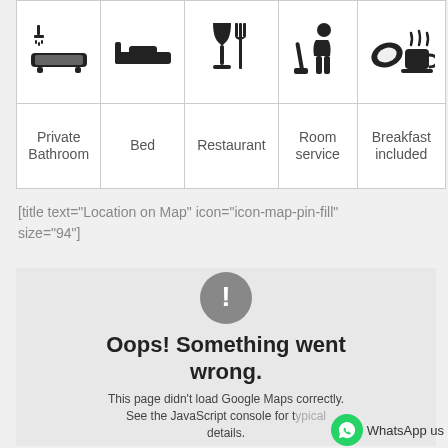| Private Bathroom | Bed | Restaurant | Room service | Breakfast included |
| --- | --- | --- | --- | --- |
| [bathtub icon] | [bed icon] | [restaurant icon] | [room service icon] | [breakfast icon] |
[title text="Location on Map" icon="icon-map-pin-fill" size="94"]
[Figure (screenshot): Google Maps error state: grey box with exclamation icon circle, text 'Oops! Something went wrong.' and 'This page didn't load Google Maps correctly. See the JavaScript console for typical details.']
WhatsApp us